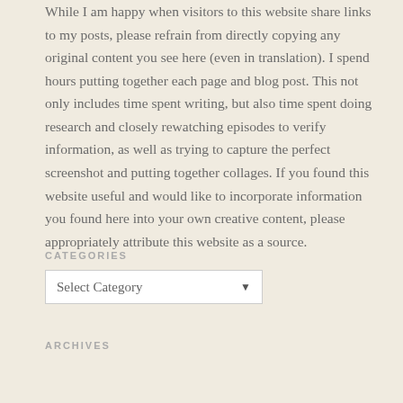While I am happy when visitors to this website share links to my posts, please refrain from directly copying any original content you see here (even in translation). I spend hours putting together each page and blog post. This not only includes time spent writing, but also time spent doing research and closely rewatching episodes to verify information, as well as trying to capture the perfect screenshot and putting together collages. If you found this website useful and would like to incorporate information you found here into your own creative content, please appropriately attribute this website as a source.
CATEGORIES
Select Category
ARCHIVES